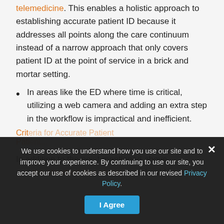telemedicine. This enables a holistic approach to establishing accurate patient ID because it addresses all points along the care continuum instead of a narrow approach that only covers patient ID at the point of service in a brick and mortar setting.
In areas like the ED where time is critical, utilizing a web camera and adding an extra step in the workflow is impractical and inefficient.
Criteria for Patient...
In addition to the po... mentioned above and the standard due above that should be
We use cookies to understand how you use our site and to improve your experience. By continuing to use our site, you accept our use of cookies as described in our revised Privacy Policy.